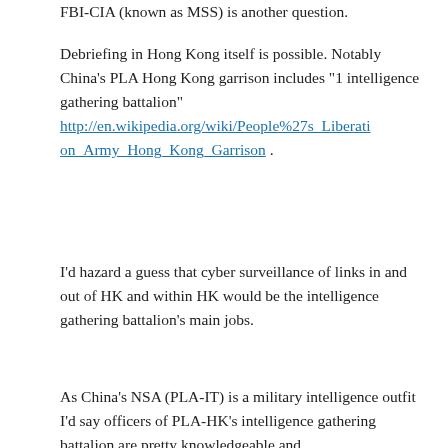FBI-CIA (known as MSS) is another question.
Debriefing in Hong Kong itself is possible. Notably China's PLA Hong Kong garrison includes "1 intelligence gathering battalion" http://en.wikipedia.org/wiki/People%27s_Liberation_Army_Hong_Kong_Garrison .
I'd hazard a guess that cyber surveillance of links in and out of HK and within HK would be the intelligence gathering battalion's main jobs.
As China's NSA (PLA-IT) is a military intelligence outfit I'd say officers of PLA-HK's intelligence gathering battalion are pretty knowledgeable and
Advertisements
[Figure (photo): Advertisements banner showing beauty product images (lipstick, makeup brush, eye makeup) with Ulta Beauty logo and SHOP NOW text]